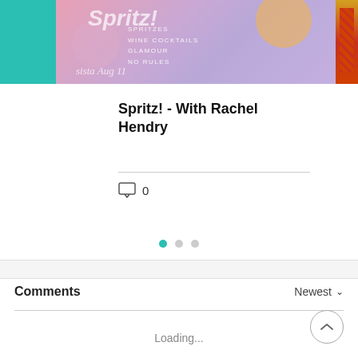[Figure (photo): Top banner image strip showing a colorful book cover for 'Spritz!' with teal left sidebar, gradient purple-pink center with text 'SPRITZES WINE COCKTAILS GLAMOUR NO RULES' and orange circle, and a red/gold patterned right edge.]
Spritz! - With Rachel Hendry
0 (comment count with speech bubble icon)
[Figure (infographic): Three pagination dots: first dot is teal/active, second and third are gray/inactive.]
Comments
Newest
Loading...